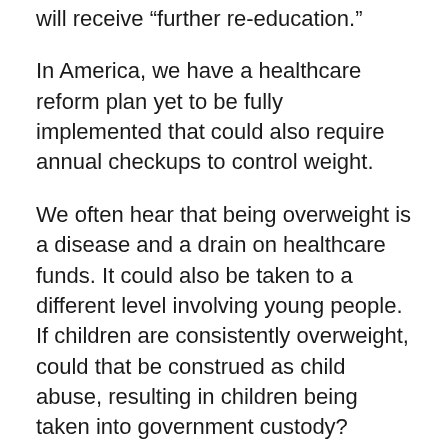will receive “further re-education.”
In America, we have a healthcare reform plan yet to be fully implemented that could also require annual checkups to control weight.
We often hear that being overweight is a disease and a drain on healthcare funds. It could also be taken to a different level involving young people. If children are consistently overweight, could that be construed as child abuse, resulting in children being taken into government custody?
Increasingly, people are eating foods that contain added hormones to increase production. Since the early 1990s, cows have been given recombinant bovine growth hormone—a Monsanto corporation innovation— to boost milk yields. Synthetic estrogen given to both cows and